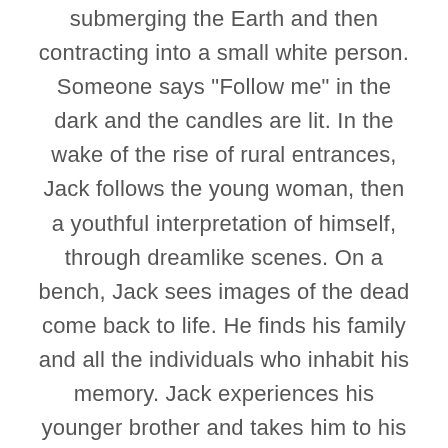submerging the Earth and then contracting into a small white person. Someone says "Follow me" in the dark and the candles are lit. In the wake of the rise of rural entrances, Jack follows the young woman, then a youthful interpretation of himself, through dreamlike scenes. On a bench, Jack sees images of the dead come back to life. He finds his family and all the individuals who inhabit his memory. Jack experiences his younger brother and takes him to his parents, who welcome him as he walks out of a house into a huge field. Accompanied by two ladies dressed in white, Mrs. O'Brien looks up to the sky and whispers: “I